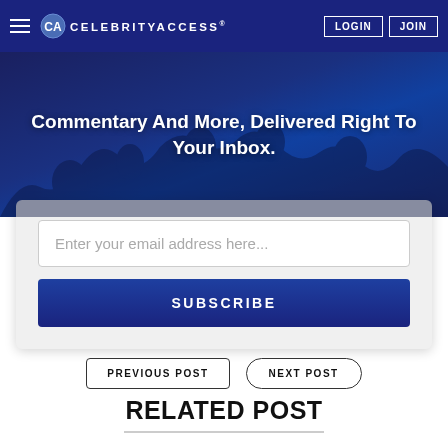CELEBRITYACCESS® | LOGIN | JOIN
Commentary And More, Delivered Right To Your Inbox.
Enter your email address here...
SUBSCRIBE
PREVIOUS POST
NEXT POST
RELATED POST